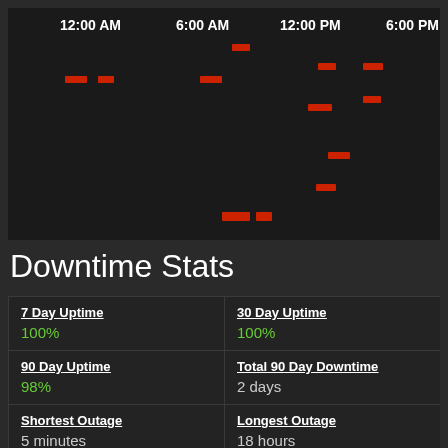[Figure (other): Dark heatmap/timeline chart showing uptime/downtime activity across time of day (12:00 AM, 6:00 AM, 12:00 PM, 6:00 PM) with scattered red marks indicating outages across multiple rows]
Downtime Stats
| Metric | Value |
| --- | --- |
| 7 Day Uptime | 100% |
| 30 Day Uptime | 100% |
| 90 Day Uptime | 98% |
| Total 90 Day Downtime | 2 days |
| Shortest Outage | 5 minutes |
| Longest Outage | 18 hours |
| Average Outage |  |
| Online Since |  |